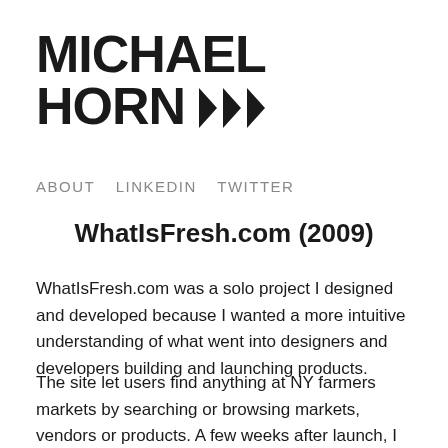MICHAEL HORN >>>
ABOUT   LINKEDIN   TWITTER
WhatIsFresh.com (2009)
WhatIsFresh.com was a solo project I designed and developed because I wanted a more intuitive understanding of what went into designers and developers building and launching products.
The site let users find anything at NY farmers markets by searching or browsing markets, vendors or products. A few weeks after launch, I cold-emailed the famed NY Times food reporter Florence Fabricant to show her the